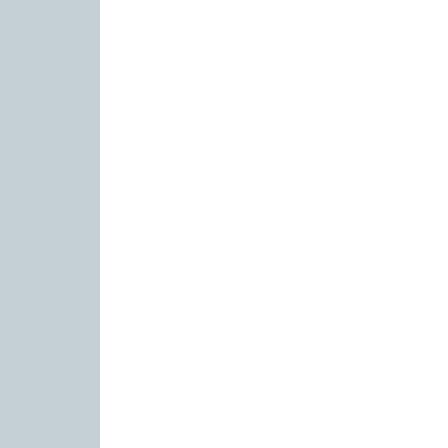YUUP VYŽIVUJÍCÍ A ROZC...
ZACELOVAČ RAN S MUM...
ZACELOVAČ RAN WUND-...
ZAŽÍVÁNÍ,PŘIBÍRÁNÍ-Dig...
ZEDAN BIO-GINKGO PFL...
ZEDAN EKZEMER ÖL-KO...
ZEDAN EKZEMER SHAM...
ZEDAN FESSEL-FIT MAU...
ZEDAN HUFPFLEGE SPR...
ZEDAN KONRAD BALSA...
ZEDAN KOŇSKÝ DEODO...
ZEDAN NATURLICHE HA...
ZEDAN PFERDESALBE KÜ...
ZEDAN SCHUBBER GEL